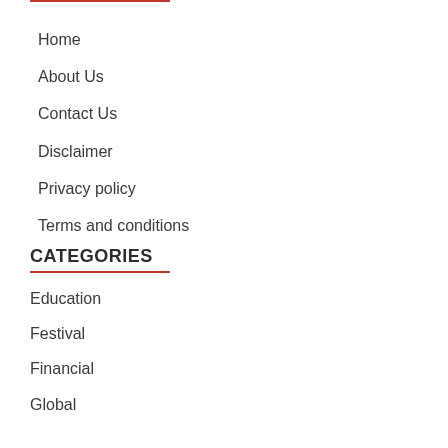Home
About Us
Contact Us
Disclaimer
Privacy policy
Terms and conditions
CATEGORIES
Education
Festival
Financial
Global